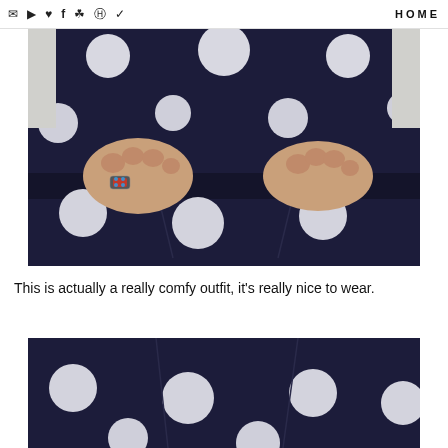✉ ▶ ♥ f ⬛ ⊕ ✓   HOME
[Figure (photo): Close-up of a person wearing a navy blue and white polka dot outfit, hands gripping the waistband area, wearing a decorative ring with red and turquoise stones.]
This is actually a really comfy outfit, it's really nice to wear.
[Figure (photo): Partial view of a navy blue and white polka dot skirt or shorts, showing white polka dots on dark fabric.]